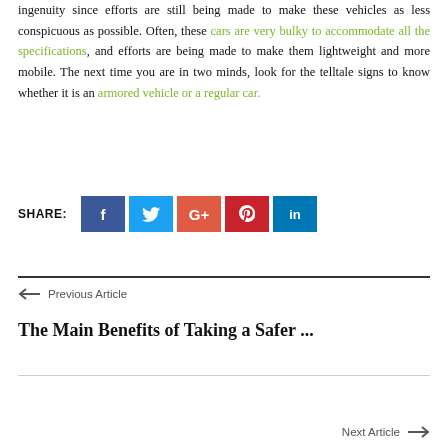ingenuity since efforts are still being made to make these vehicles as less conspicuous as possible. Often, these cars are very bulky to accommodate all the specifications, and efforts are being made to make them lightweight and more mobile. The next time you are in two minds, look for the telltale signs to know whether it is an armored vehicle or a regular car.
SHARE: [Facebook] [Twitter] [Google+] [Pinterest] [LinkedIn]
← Previous Article
The Main Benefits of Taking a Safer ...
Next Article →